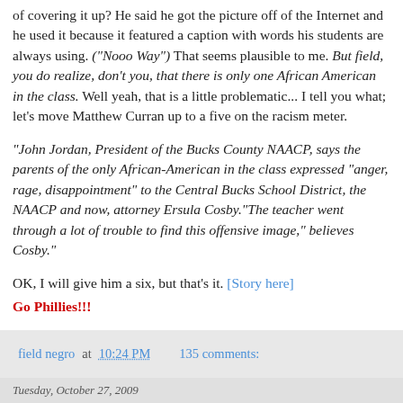of covering it up? He said he got the picture off of the Internet and he used it because it featured a caption with words his students are always using. ("Nooo Way") That seems plausible to me. But field, you do realize, don't you, that there is only one African American in the class. Well yeah, that is a little problematic... I tell you what; let's move Matthew Curran up to a five on the racism meter.
"John Jordan, President of the Bucks County NAACP, says the parents of the only African-American in the class expressed "anger, rage, disappointment" to the Central Bucks School District, the NAACP and now, attorney Ersula Cosby."The teacher went through a lot of trouble to find this offensive image," believes Cosby."
OK, I will give him a six, but that's it. [Story here]
Go Phillies!!!
field negro at 10:24 PM    135 comments:
Tuesday, October 27, 2009